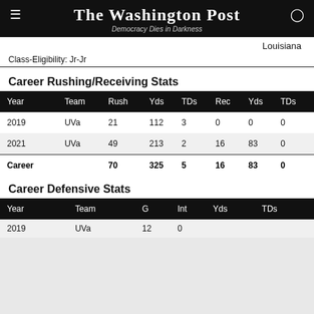The Washington Post — Democracy Dies in Darkness
Louisiana
Class-Eligibility: Jr-Jr
Career Rushing/Receiving Stats
| Year | Team | Rush | Yds | TDs | Rec | Yds | TDs |
| --- | --- | --- | --- | --- | --- | --- | --- |
| 2019 | UVa | 21 | 112 | 3 | 0 | 0 | 0 |
| 2021 | UVa | 49 | 213 | 2 | 16 | 83 | 0 |
| Career |  | 70 | 325 | 5 | 16 | 83 | 0 |
Career Defensive Stats
| Year | Team | G | Int | Yds | TDs |
| --- | --- | --- | --- | --- | --- |
| 2019 | UVa | 12 | 0 |  |  |